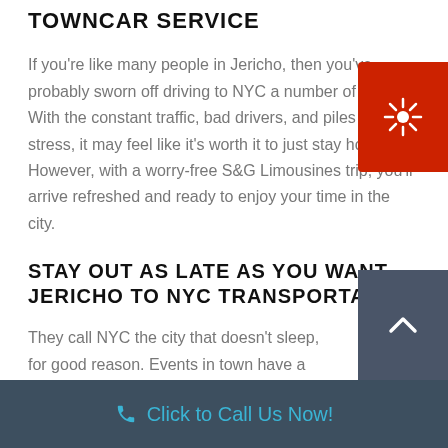TOWNCAR SERVICE
If you're like many people in Jericho, then you've probably sworn off driving to NYC a number of times. With the constant traffic, bad drivers, and piles of stress, it may feel like it's worth it to just stay home. However, with a worry-free S&G Limousines trip, you'll arrive refreshed and ready to enjoy your time in the city.
STAY OUT AS LATE AS YOU WANT – JERICHO TO NYC TRANSPORTATION
They call NYC the city that doesn't sleep, for good reason. Events in town have a
Click to Call Us Now!